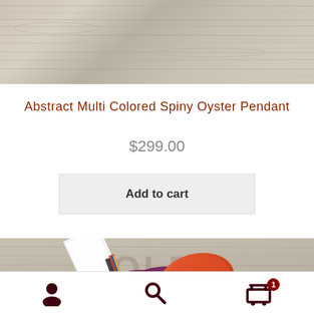[Figure (photo): Wood plank texture background, light gray-beige weathered wood]
Abstract Multi Colored Spiny Oyster Pendant
$299.00
Add to cart
[Figure (photo): Product photo showing colorful gemstone pendant with purple and orange stones on leather, with jewelry card, on rustic wood background with OLDS text]